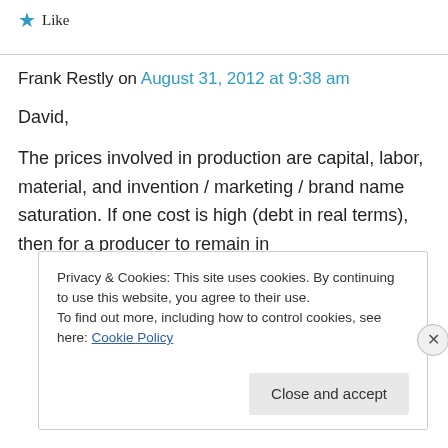Like
Frank Restly on August 31, 2012 at 9:38 am
David,
The prices involved in production are capital, labor, material, and invention / marketing / brand name saturation. If one cost is high (debt in real terms), then for a producer to remain in
Privacy & Cookies: This site uses cookies. By continuing to use this website, you agree to their use. To find out more, including how to control cookies, see here: Cookie Policy
Close and accept